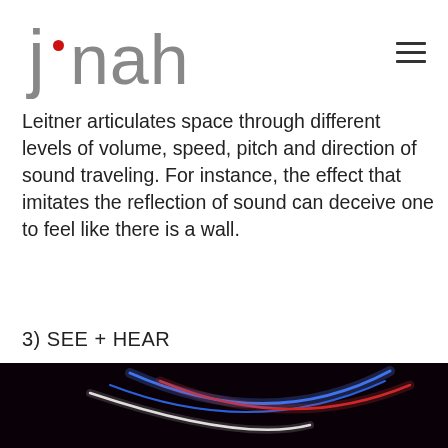j • nah
Leitner articulates space through different levels of volume, speed, pitch and direction of sound traveling. For instance, the effect that imitates the reflection of sound can deceive one to feel like there is a wall.
3) SEE + HEAR
[Figure (photo): Dark background with curved light streaks in white, blue, and red arcing across the image like light trails or fiber optic cables]